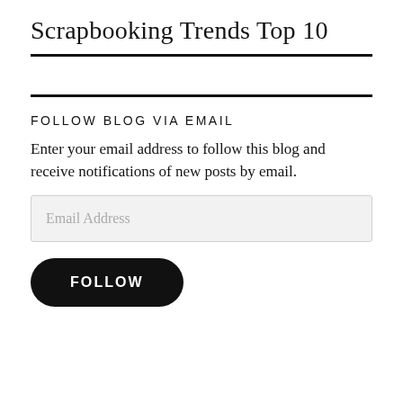Scrapbooking Trends Top 10
FOLLOW BLOG VIA EMAIL
Enter your email address to follow this blog and receive notifications of new posts by email.
Email Address
FOLLOW